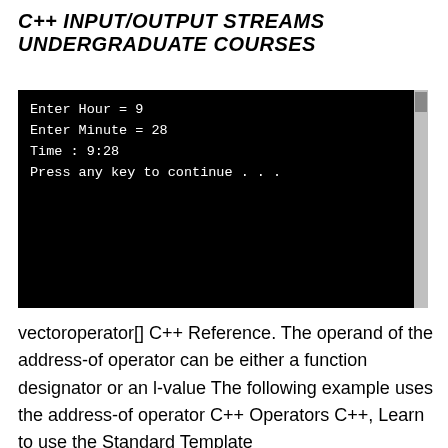C++ INPUT/OUTPUT STREAMS UNDERGRADUATE COURSES
[Figure (screenshot): Black terminal/console window showing program output: 'Enter Hour = 9', 'Enter Minute = 28', 'Time : 9:28', 'Press any key to continue . . .']
vectoroperator[] C++ Reference. The operand of the address-of operator can be either a function designator or an l-value The following example uses the address-of operator C++ Operators C++, Learn to use the Standard Template